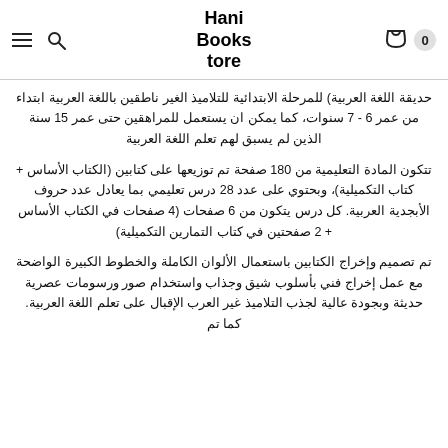Hani Books tore
حديقة اللغة العربية) للمرحلة الابتدائية للتلاميذ الغير ناطقين باللغة العربية ابتداء من عمر 6 - 7 سنوات، كما يمكن ان يستعمل للمراهقين حتى عمر 15 سنة الذين لم يسبق لهم تعلم اللغة العربية
تتكون المادة التعليمية من 180 صفحة تم توزيعها على كتابين (الكتاب الأساس + كتاب التكميلية)، وبحتوي على عدد 28 درس تعليمي بما يعادل عدد حروف الأبجدية العربية. كل درس يتكون من 6 صفحات (4 صفحات في الكتاب الأساس + 2 صفحتين في كتاب التمارين التكميلية)
تم تصميم وإخراج الكتابين باستعمال الألوان الكاملة والخطوط الكبيرة الواضحة مع عمل إخراج فني بأسلوب شيق وجذاب واستخدام صور ورسومات عصرية حديثة وبجودة عالية لجذب التلاميذ غير العرب الإقبال على تعلم اللغة العربية. كما تم